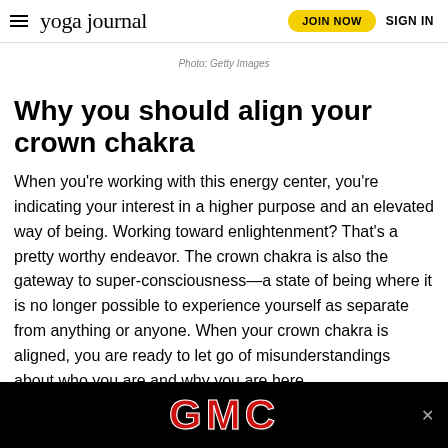yoga journal  JOIN NOW  SIGN IN
Photo: Getty Images
Why you should align your crown chakra
When you're working with this energy center, you're indicating your interest in a higher purpose and an elevated way of being. Working toward enlightenment? That's a pretty worthy endeavor. The crown chakra is also the gateway to super-consciousness—a state of being where it is no longer possible to experience yourself as separate from anything or anyone. When your crown chakra is aligned, you are ready to let go of misunderstandings about who you are and why you are here.
[Figure (logo): GMC advertisement banner with red GMC logo text on black background]